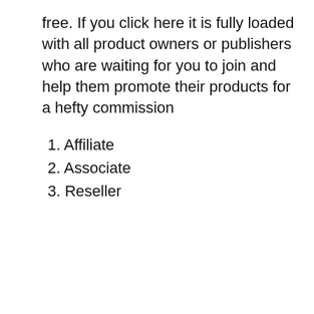free. If you click here it is fully loaded with all product owners or publishers who are waiting for you to join and help them promote their products for a hefty commission
1. Affiliate
2. Associate
3. Reseller